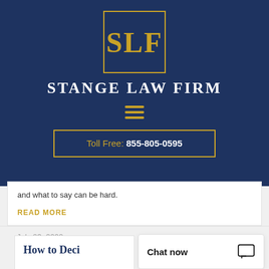[Figure (logo): Stange Law Firm logo: gold SLF letters in a gold-bordered rectangle on navy blue background]
Stange Law Firm
[Figure (other): Hamburger menu icon (three gold horizontal lines)]
Toll Free: 855-805-0595
and what to say can be hard.
READ MORE
July 23, 2022
How to Deci
Chat now